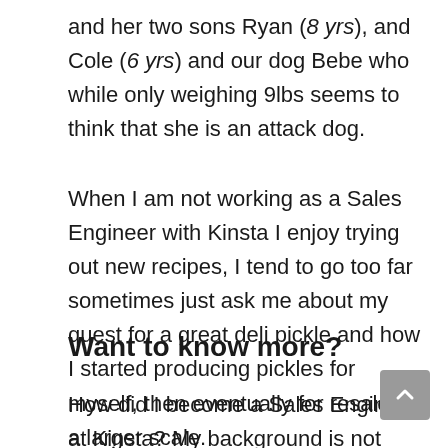and her two sons Ryan (8 yrs), and Cole (6 yrs) and our dog Bebe who while only weighing 9lbs seems to think that she is an attack dog.
When I am not working as a Sales Engineer with Kinsta I enjoy trying out new recipes, I tend to go too far sometimes just ask me about my quest for a great deli pickle and how I started producing pickles for myself, then eventually for resale on a larger scale.
Want to know more?
How did I become a Sales Engineer at Kinsta? My background is not originally in sales, rather I